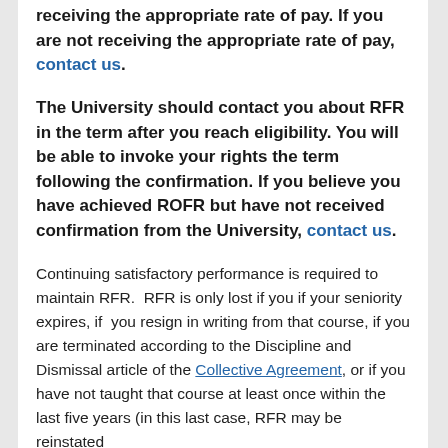receiving the appropriate rate of pay. If you are not receiving the appropriate rate of pay, contact us.
The University should contact you about RFR in the term after you reach eligibility. You will be able to invoke your rights the term following the confirmation. If you believe you have achieved ROFR but have not received confirmation from the University, contact us.
Continuing satisfactory performance is required to maintain RFR. RFR is only lost if you if your seniority expires, if you resign in writing from that course, if you are terminated according to the Discipline and Dismissal article of the Collective Agreement, or if you have not taught that course at least once within the last five years (in this last case, RFR may be reinstated